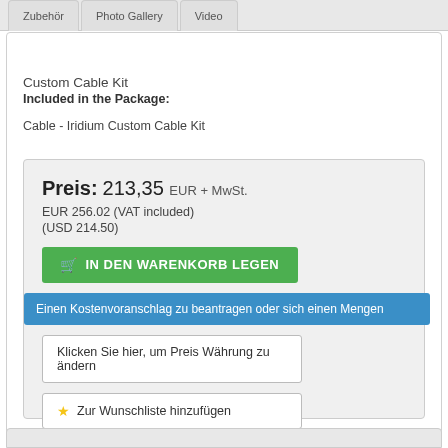Zubehör | Photo Gallery | Video
Custom Cable Kit
Included in the Package:
Cable - Iridium Custom Cable Kit
Preis: 213,35 EUR + MwSt.
EUR 256.02 (VAT included)
(USD 214.50)
IN DEN WARENKORB LEGEN
Einen Kostenvoranschlag zu beantragen oder sich einen Mengen...
Klicken Sie hier, um Preis Währung zu ändern
★ Zur Wunschliste hinzufügen
*SIE SOLLTEN einen Kostenvoranschlag zu beantragen, wenn Sie bestimmte Zubehörteile kaufen müssen, zum Beispiel eine Antenne und Kabel, so dass wir Ihnen das richtige Kabel für Ihre Antenne auf Ihrem Gerät mit allen Adaptern, die Sie benötigen.